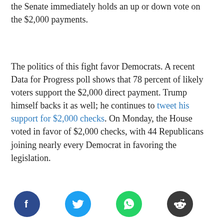the Senate immediately holds an up or down vote on the $2,000 payments.
The politics of this fight favor Democrats. A recent Data for Progress poll shows that 78 percent of likely voters support the $2,000 direct payment. Trump himself backs it as well; he continues to tweet his support for $2,000 checks. On Monday, the House voted in favor of $2,000 checks, with 44 Republicans joining nearly every Democrat in favoring the legislation.
[Figure (infographic): Four social media share buttons: Facebook (dark blue circle with f icon), Twitter (cyan circle with bird icon), WhatsApp (green circle with phone icon), Reddit (dark gray circle with alien icon)]